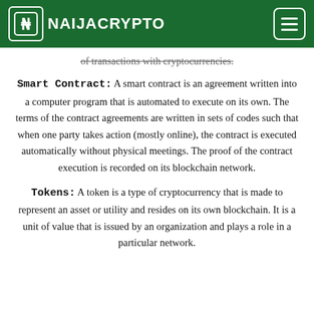NAIJACRYPTO
of transactions with cryptocurrencies.
Smart Contract: A smart contract is an agreement written into a computer program that is automated to execute on its own. The terms of the contract agreements are written in sets of codes such that when one party takes action (mostly online), the contract is executed automatically without physical meetings. The proof of the contract execution is recorded on its blockchain network.
Tokens: A token is a type of cryptocurrency that is made to represent an asset or utility and resides on its own blockchain. It is a unit of value that is issued by an organization and plays a role in a particular network.